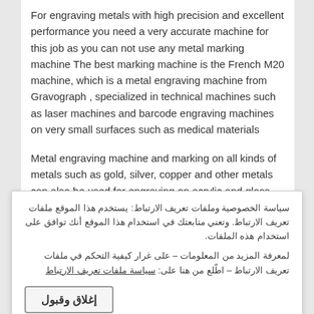For engraving metals with high precision and excellent performance you need a very accurate machine for this job as you can not use any metal marking machine The best marking machine is the French M20 machine, which is a metal engraving machine from Gravograph , specialized in technical machines such as laser machines and barcode engraving machines on very small surfaces such as medical materials
Metal engraving machine and marking on all kinds of metals such as gold, silver, copper and other metals can also be used for engraving on acrylic and glass There is also a machine to engrave the drum from the
سياسة الخصوصية وملفات تعريف الارتباط: يستخدم هذا الموقع ملفات تعريف الارتباط. وتعني متابعتك في استخدام هذا الموقع أنك توافق على استخدام هذه الملفات.
لمعرفة المزيد من المعلومات – على غرار كيفية التحكم في ملفات تعريف الارتباط – اطّلع من هنا على: سياسة ملفات تعريف الارتباط
إغلاق وقبول
need for computer or design programs permanently